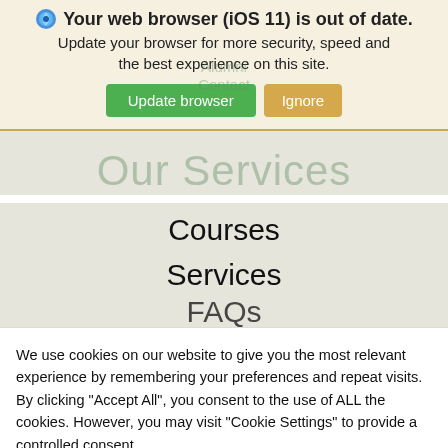Your web browser (iOS 11) is out of date. Update your browser for more security, speed and the best experience on this site.
Update browser | Ignore
Our Services
Courses
Services
FAQs
We use cookies on our website to give you the most relevant experience by remembering your preferences and repeat visits. By clicking "Accept All", you consent to the use of ALL the cookies. However, you may visit "Cookie Settings" to provide a controlled consent.
Cookie Settings | Accept All